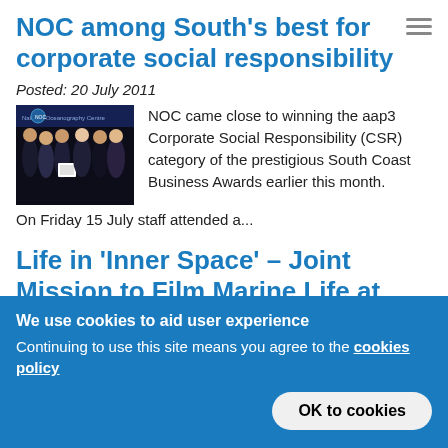NOC among South's best for corporate social responsibility
Posted: 20 July 2011
[Figure (photo): Group photo of people in formal attire at an awards ceremony, holding a certificate or award, in front of a dark backdrop with event branding.]
NOC came close to winning the aap3 Corporate Social Responsibility (CSR) category of the prestigious South Coast Business Awards earlier this month. On Friday 15 July staff attended a...
Life in ‘Inner Space’ – Joint Mission to Film Marine Life at 3km Depth
We use cookies to aid user experience
Continuing to use this site means you agree to the cookies policy
OK to cookies